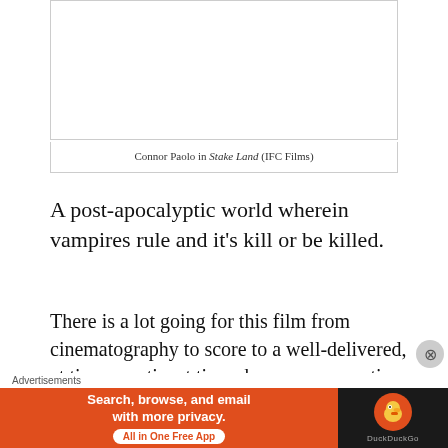[Figure (photo): White/blank image area for Connor Paolo in Stake Land (IFC Films)]
Connor Paolo in Stake Land (IFC Films)
A post-apocalyptic world wherein vampires rule and it's kill or be killed.
There is a lot going for this film from cinematography to score to a well-delivered, at times poetic, at times humorous narration by the lead Connor Paolo. Where Stake Land
[Figure (screenshot): Advertisement banner: DuckDuckGo - Search, browse, and email with more privacy. All in One Free App]